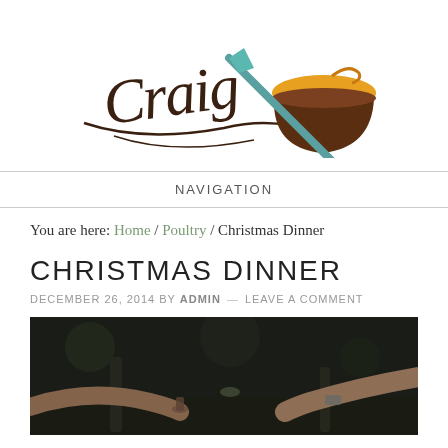[Figure (logo): Craig's cooking blog logo with cursive 'Craig' text and illustrated crossed knife and cooking pot/lid]
NAVIGATION
You are here: Home / Poultry / Christmas Dinner
CHRISTMAS DINNER
DECEMBER 26, 2014 BY ADMIN — LEAVE A COMMENT
[Figure (photo): Dark photo of people toasting/clinking glasses and bottles at a dinner table]